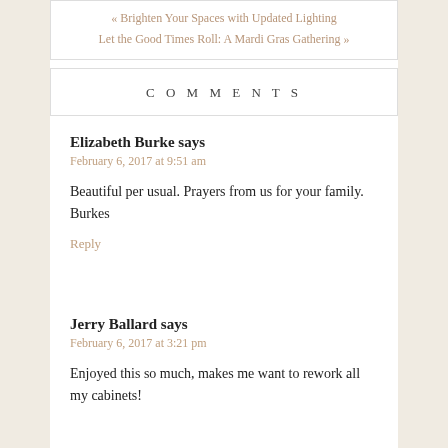« Brighten Your Spaces with Updated Lighting
Let the Good Times Roll: A Mardi Gras Gathering »
COMMENTS
Elizabeth Burke says
February 6, 2017 at 9:51 am
Beautiful per usual. Prayers from us for your family. Burkes
Reply
Jerry Ballard says
February 6, 2017 at 3:21 pm
Enjoyed this so much, makes me want to rework all my cabinets!